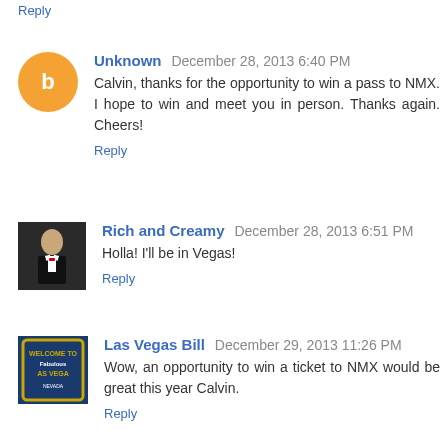Reply
Unknown  December 28, 2013 6:40 PM
Calvin, thanks for the opportunity to win a pass to NMX. I hope to win and meet you in person. Thanks again. Cheers!
Reply
Rich and Creamy  December 28, 2013 6:51 PM
Holla! I'll be in Vegas!
Reply
Las Vegas Bill  December 29, 2013 11:26 PM
Wow, an opportunity to win a ticket to NMX would be great this year Calvin.
Reply